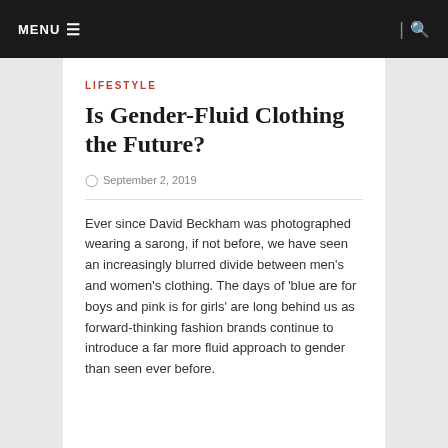MENU ☰ | 🔍
LIFESTYLE
Is Gender-Fluid Clothing the Future?
September 2, 2019
Ever since David Beckham was photographed wearing a sarong, if not before, we have seen an increasingly blurred divide between men's and women's clothing. The days of 'blue are for boys and pink is for girls' are long behind us as forward-thinking fashion brands continue to introduce a far more fluid approach to gender than seen ever before.